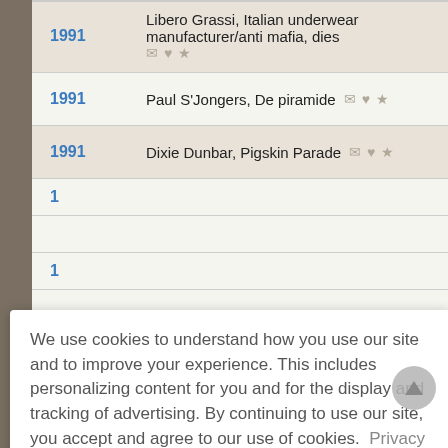1991 — Libero Grassi, Italian underwear manufacturer/anti mafia, dies
1991 — Paul S'Jongers, De piramide
1991 — Dixie Dunbar, Pigskin Parade
We use cookies to understand how you use our site and to improve your experience. This includes personalizing content for you and for the display and tracking of advertising. By continuing to use our site, you accept and agree to our use of cookies. Privacy Policy
Got it!
1992 — Teddy Turner, comedian, dies at 75